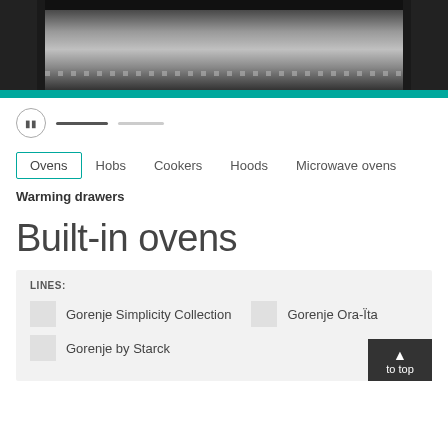[Figure (photo): Interior view of a built-in oven showing oven rack and cavity, black and white/dark image]
|| (pause button)  — slide indicators
Ovens  Hobs  Cookers  Hoods  Microwave ovens
Warming drawers
Built-in ovens
LINES: Gorenje Simplicity Collection  Gorenje Ora-Ïta  Gorenje by Starck